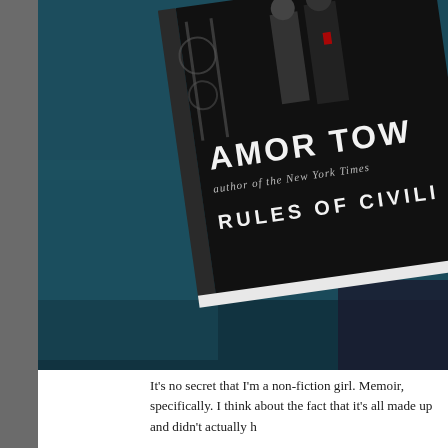[Figure (photo): A photo of a book lying on a dark teal/navy fabric surface. The book cover is dark with white text reading 'AMOR TOW' (Towles, partially cropped) and 'RULES OF CIVILI' (Rules of Civility, partially cropped). Subtitle text reads 'author of the New York Times'. Two figures in formal wear are visible on the cover in black and white.]
It's no secret that I'm a non-fiction girl. Memoir, specifically. I think about the fact that it's all made up and didn't actually h